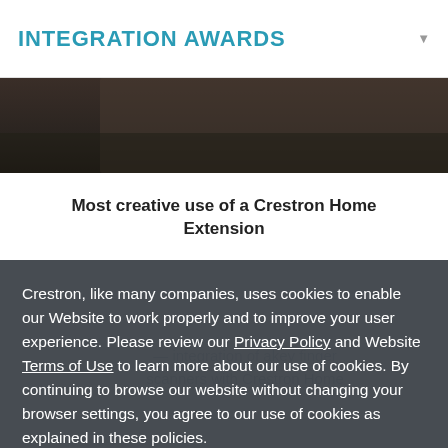INTEGRATION AWARDS
[Figure (photo): Dark photo image strip showing a hand or device, partially visible]
Most creative use of a Crestron Home Extension
Crestron, like many companies, uses cookies to enable our Website to work properly and to improve your user experience. Please review our Privacy Policy and Website Terms of Use to learn more about our use of cookies. By continuing to browse our website without changing your browser settings, you agree to our use of cookies as explained in these policies.
Accept and Close